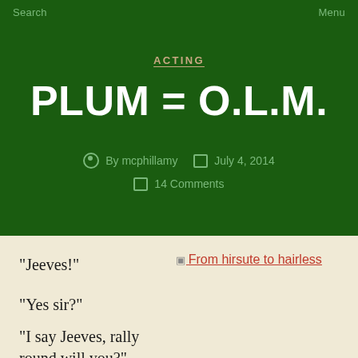Search
Menu
ACTING
PLUM = O.L.M.
By mcphillamy   July 4, 2014
14 Comments
“Jeeves!”
From hirsute to hairless
“Yes sir?”
“I say Jeeves, rally round will you?”